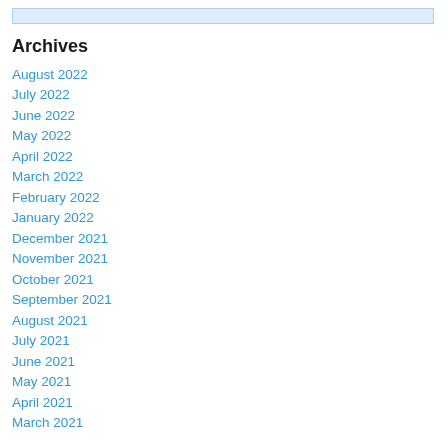Archives
August 2022
July 2022
June 2022
May 2022
April 2022
March 2022
February 2022
January 2022
December 2021
November 2021
October 2021
September 2021
August 2021
July 2021
June 2021
May 2021
April 2021
March 2021